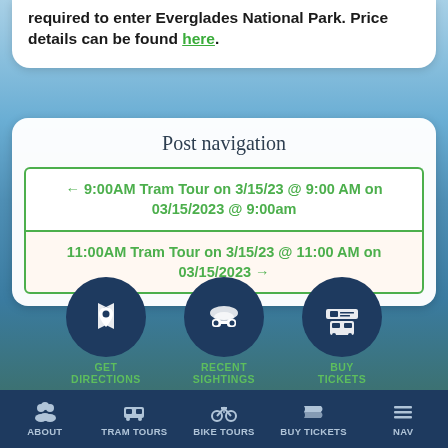required to enter Everglades National Park. Price details can be found here.
Post navigation
← 9:00AM Tram Tour on 3/15/23 @ 9:00 AM on 03/15/2023 @ 9:00am
11:00AM Tram Tour on 3/15/23 @ 11:00 AM on 03/15/2023 →
[Figure (infographic): Three circular icon buttons on a nature background: GET DIRECTIONS (map/pin icon), RECENT SIGHTINGS (alligator/binoculars icon), BUY TICKETS (ticket/bus icon). Below is a bottom navigation bar with ABOUT, TRAM TOURS, BIKE TOURS, BUY TICKETS, NAV icons.]